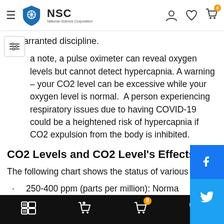NSC — National Science Corporation navigation header
unwarranted discipline.
a note, a pulse oximeter can reveal oxygen levels but cannot detect hypercapnia. A warning – your CO2 level can be excessive while your oxygen level is normal.  A person experiencing respiratory issues due to having COVID-19 could be a heightened risk of hypercapnia if CO2 expulsion from the body is inhibited.
CO2 Levels and CO2 Level's Effects
The following chart shows the status of various levels:
250-400 ppm (parts per million): Norma
Bottom navigation bar with cart, wishlist, and call icons